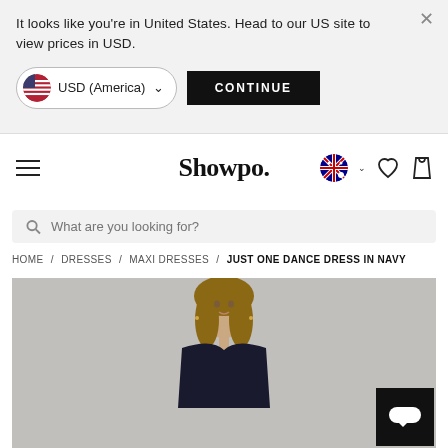It looks like you're in United States. Head to our US site to view prices in USD.
USD (America)
CONTINUE
Showpo.
What are you looking for?
HOME / DRESSES / MAXI DRESSES / JUST ONE DANCE DRESS IN NAVY
[Figure (photo): Fashion model wearing a navy dress, photographed against a light grey background, cropped at upper body level]